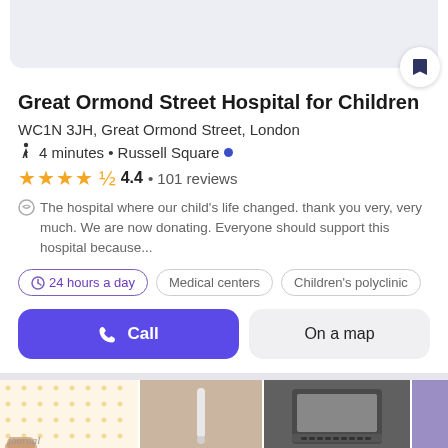[Figure (screenshot): Top card placeholder area with bookmark button]
Great Ormond Street Hospital for Children
WC1N 3JH, Great Ormond Street, London
4 minutes • Russell Square •
4.4 • 101 reviews
The hospital where our child's life changed. thank you very, very much. We are now donating. Everyone should support this hospital because...
24 hours a day   Medical centers   Children's polyclinic
Call   On a map
[Figure (photo): Bottom row of three photos: journal, pen on beige background, laptop keyboard, purple partial image]